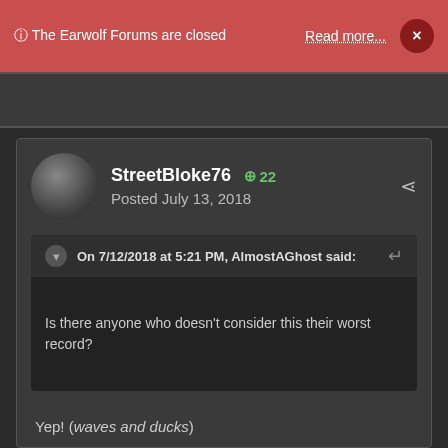ⓘ The Earwolf Forums are closed   Read more...   ×
StreetBloke76  +22
Posted July 13, 2018
On 7/12/2018 at 5:21 PM, AlmostAGhost said:
Is there anyone who doesn't consider this their worst record?
Yep! (waves and ducks)
Although I appreciate that I'm in the minority. My least favourite